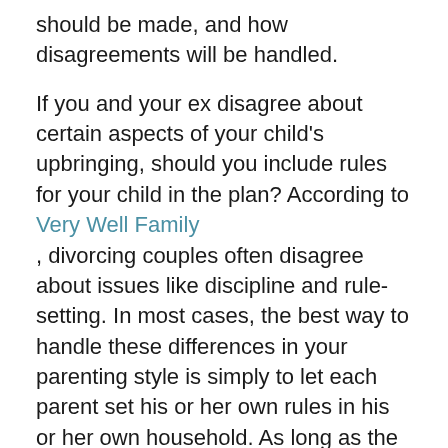should be made, and how disagreements will be handled.
If you and your ex disagree about certain aspects of your child's upbringing, should you include rules for your child in the plan? According to Very Well Family , divorcing couples often disagree about issues like discipline and rule-setting. In most cases, the best way to handle these differences in your parenting style is simply to let each parent set his or her own rules in his or her own household. As long as the rules are consistent in each home, the children should be able to adjust. However, if you are concerned that your ex's discipline tactics are unsafe or are putting your child in danger, you may want to speak to a qualified divorce lawyer like